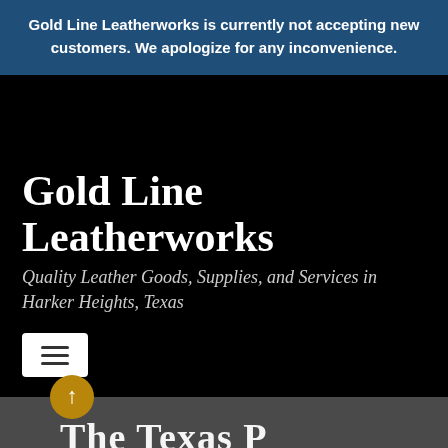Gold Line Leatherworks is currently not accepting new customers. We apologize for any inconvenience.
Gold Line Leatherworks
Quality Leather Goods, Supplies, and Services in Harker Heights, Texas
[Figure (screenshot): Hamburger menu button (three horizontal lines) on white background]
The Texas P...